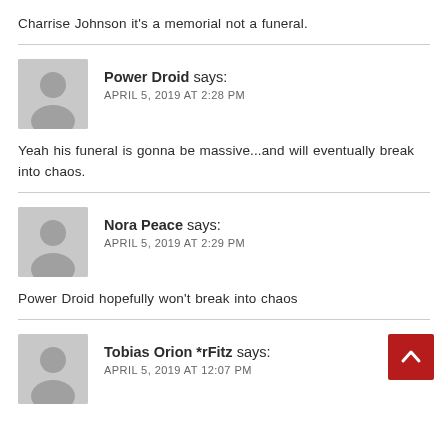Charrise Johnson it's a memorial not a funeral.
Power Droid says:
APRIL 5, 2019 AT 2:28 PM
Yeah his funeral is gonna be massive...and will eventually break into chaos.
Nora Peace says:
APRIL 5, 2019 AT 2:29 PM
Power Droid hopefully won't break into chaos
Tobias Orion *rFitz says:
APRIL 5, 2019 AT 12:07 PM